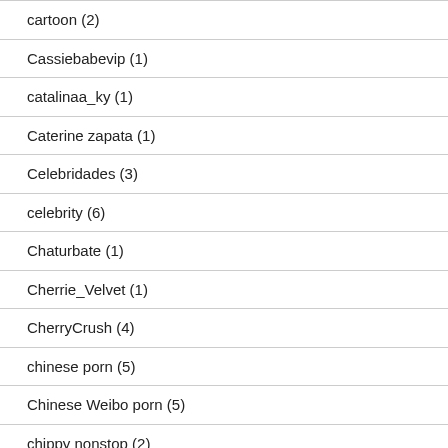cartoon (2)
Cassiebabevip (1)
catalinaa_ky (1)
Caterine zapata (1)
Celebridades (3)
celebrity (6)
Chaturbate (1)
Cherrie_Velvet (1)
CherryCrush (4)
chinese porn (5)
Chinese Weibo porn (5)
chippy nonstop (2)
Chloe Khan (1)